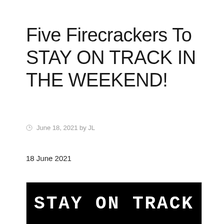Five Firecrackers To STAY ON TRACK IN THE WEEKEND!
June 18, 2021 by JL
18 June 2021
[Figure (photo): Black banner image with white bold western-style text reading STAY ON TRACK, shown inside a light grey bordered box]